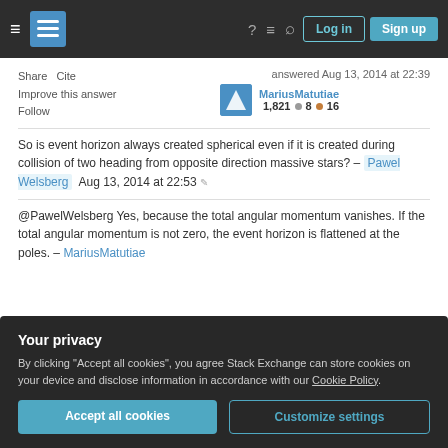Stack Exchange navigation bar with Log in and Sign up buttons
Share   Cite
Improve this answer
Follow
answered Aug 13, 2014 at 22:39
MariusMatutiae
1,821 ● 8 ● 16
So is event horizon always created spherical even if it is created during collision of two heading from opposite direction massive stars? – Pawel Welsberg  Aug 13, 2014 at 22:53 ✎
@PawelWelsberg Yes, because the total angular momentum vanishes. If the total angular momentum is not zero, the event horizon is flattened at the poles. – MariusMatutiae
Your privacy
By clicking "Accept all cookies", you agree Stack Exchange can store cookies on your device and disclose information in accordance with our Cookie Policy.
Accept all cookies   Customize settings